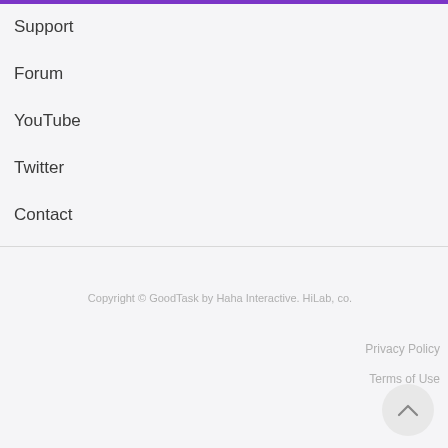Support
Forum
YouTube
Twitter
Contact
Copyright © GoodTask by Haha Interactive. HiLab, co.
Privacy Policy
Terms of Use